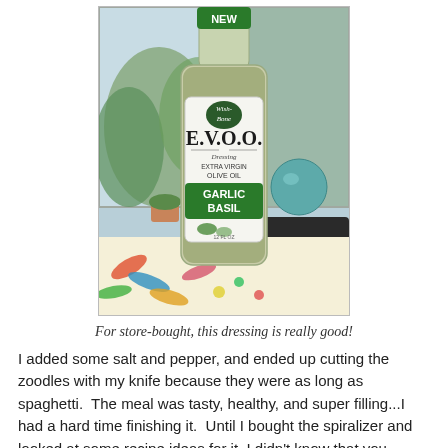[Figure (photo): Photo of a Wish-Bone E.V.O.O. Garlic Basil dressing bottle sitting on a colorful patterned tablecloth, with a window, plants, and a teal decorative ball in the background. The bottle has a green 'NEW' label at the top and a white label showing 'E.V.O.O. Dressing Extra Virgin Olive Oil GARLIC BASIL'.]
For store-bought, this dressing is really good!
I added some salt and pepper, and ended up cutting the zoodles with my knife because they were as long as spaghetti.  The meal was tasty, healthy, and super filling...I had a hard time finishing it.  Until I bought the spiralizer and looked at some recipe ideas for it, I didn't know that you